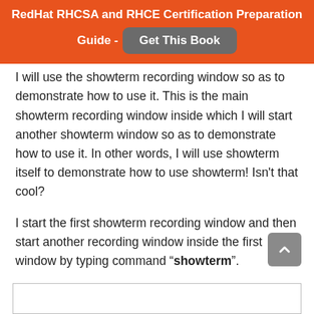RedHat RHCSA and RHCE Certification Preparation Guide - Get This Book
I will use the showterm recording window so as to demonstrate how to use it. This is the main showterm recording window inside which I will start another showterm window so as to demonstrate how to use it. In other words, I will use showterm itself to demonstrate how to use showterm! Isn't that cool?
I start the first showterm recording window and then start another recording window inside the first window by typing command "showterm".
[Figure (other): Partial view of a terminal/recording window box at the bottom of the page]